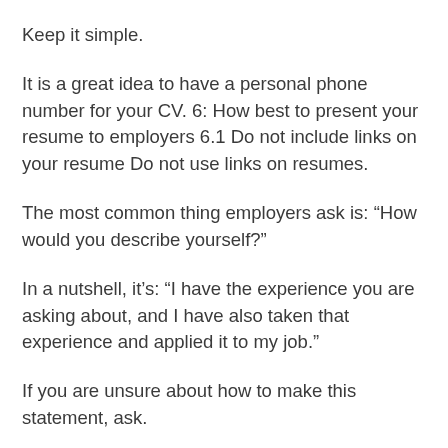Keep it simple.
It is a great idea to have a personal phone number for your CV. 6: How best to present your resume to employers 6.1 Do not include links on your resume Do not use links on resumes.
The most common thing employers ask is: “How would you describe yourself?”
In a nutshell, it’s: “I have the experience you are asking about, and I have also taken that experience and applied it to my job.”
If you are unsure about how to make this statement, ask.
6.2 Do not list job titles on your résumé Do not ask your boss what job title you have, because you should be presenting your resume in this way.